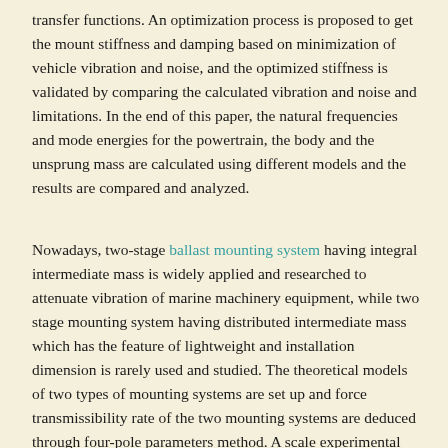transfer functions. An optimization process is proposed to get the mount stiffness and damping based on minimization of vehicle vibration and noise, and the optimized stiffness is validated by comparing the calculated vibration and noise and limitations. In the end of this paper, the natural frequencies and mode energies for the powertrain, the body and the unsprung mass are calculated using different models and the results are compared and analyzed.
Nowadays, two-stage ballast mounting system having integral intermediate mass is widely applied and researched to attenuate vibration of marine machinery equipment, while two stage mounting system having distributed intermediate mass which has the feature of lightweight and installation dimension is rarely used and studied. The theoretical models of two types of mounting systems are set up and force transmissibility rate of the two mounting systems are deduced through four-pole parameters method. A scale experimental prototype is established to test the isolation efficiency of the two-stage mounting system having distributed intermediate mass. FEMs of the two systems are established to make a comparison ascertaining the difference between the two about vibration isolation efficiency at the different